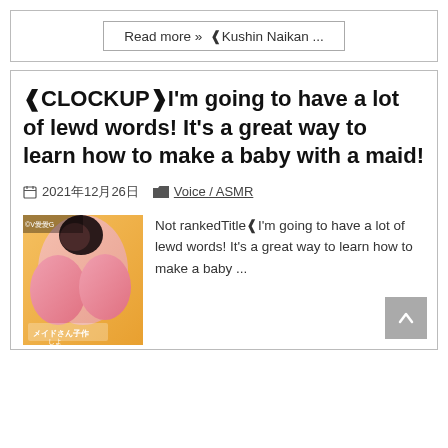Read more »  ❰Kushin Naikan ...
❰CLOCKUP❱I'm going to have a lot of lewd words! It's a great way to learn how to make a baby with a maid!
2021年12月26日   Voice / ASMR
[Figure (illustration): Anime-style illustration of a maid character, partially cropped, with Japanese text at the bottom]
Not rankedTitle❰I'm going to have a lot of lewd words! It's a great way to learn how to make a baby ...